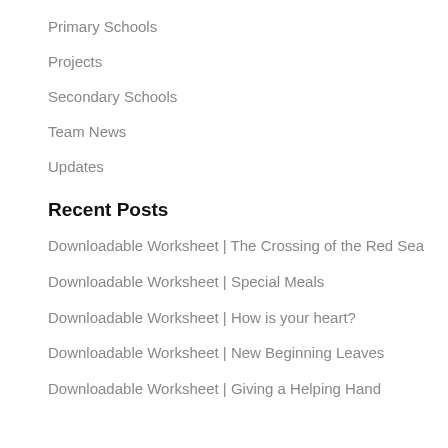Primary Schools
Projects
Secondary Schools
Team News
Updates
Recent Posts
Downloadable Worksheet | The Crossing of the Red Sea
Downloadable Worksheet | Special Meals
Downloadable Worksheet | How is your heart?
Downloadable Worksheet | New Beginning Leaves
Downloadable Worksheet | Giving a Helping Hand